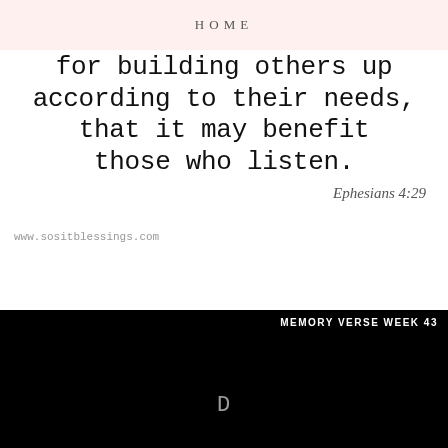HOME
for building others up according to their needs, that it may benefit those who listen.
Ephesians 4:29
www.sositblessings.com
[Figure (other): Black background card with white text reading 'MEMORY VERSE WEEK 43' in top right, partially visible white handwritten text at bottom]